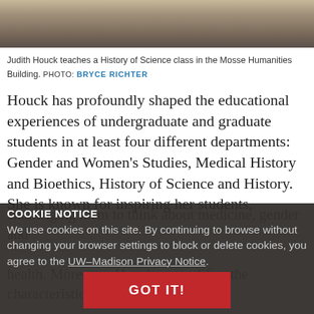[Figure (photo): Top portion of a photo showing Judith Houck teaching a History of Science class in the Mosse Humanities Building — partial view of a person at top.]
Judith Houck teaches a History of Science class in the Mosse Humanities Building. PHOTO: BRYCE RICHTER
Houck has profoundly shaped the educational experiences of undergraduate and graduate students in at least four different departments: Gender and Women's Studies, Medical History and Bioethics, History of Science and History. She is known for inspiring her students,
COOKIE NOTICE
We use cookies on this site. By continuing to browse without changing your browser settings to block or delete cookies, you agree to the UW–Madison Privacy Notice.
GOT IT!